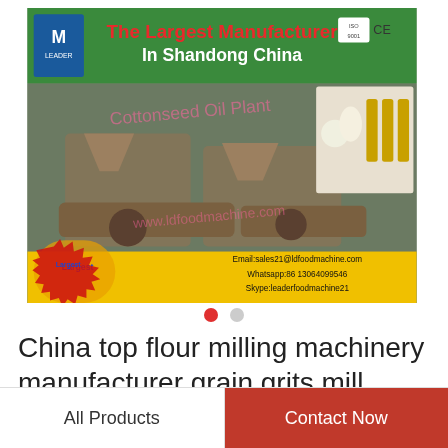[Figure (photo): Product banner for Shandong China largest manufacturer oil press machinery. Green header banner with company logo, ISO and CE marks. Text: 'The Largest Manufacturer In Shandong China'. Background shows oil press machines in a factory. Bottom yellow section with fist graphic labeled 'Largest' and contact info: Email:sales21@ldfoodmachine.com, Whatsapp:86 13064099546, Skype:leaderfoodmachine21. WhatsApp Online green circle icon to the right.]
China top flour milling machinery manufacturer grain grits mill
All Products
Contact Now